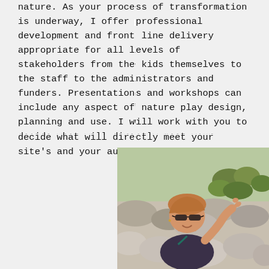nature. As your process of transformation is underway, I offer professional development and front line delivery appropriate for all levels of stakeholders from the kids themselves to the staff to the administrators and funders. Presentations and workshops can include any aspect of nature play design, planning and use. I will work with you to decide what will directly meet your site's and your audiences' needs.
[Figure (photo): A woman with red/blonde hair wearing sunglasses, smiling and gesturing with her hand, sitting among large rocks with green shrubs in the background outdoors.]